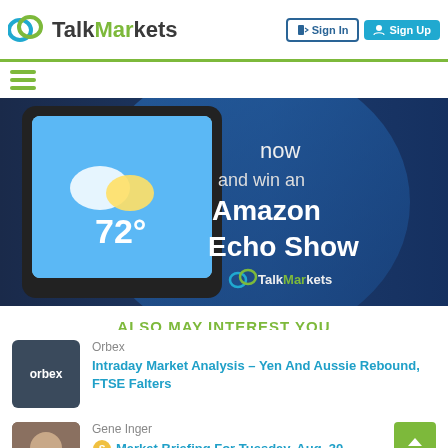TalkMarkets — Sign In | Sign Up
[Figure (screenshot): TalkMarkets logo with stylized chat bubble icon in teal/green. Text: TalkMarkets with 'Markets' partially in green.]
[Figure (photo): Promotional banner showing an Amazon Echo Show device displaying 72° weather. Text on banner: 'now and win an Amazon Echo Show' with TalkMarkets logo.]
ALSO MAY INTEREST YOU
[Figure (logo): Orbex logo thumbnail — dark blue/grey square with 'orbex' text]
Orbex
Intraday Market Analysis – Yen And Aussie Rebound, FTSE Falters
[Figure (photo): Thumbnail photo of Gene Inger]
Gene Inger
Market Briefing For Tuesday, Aug. 30